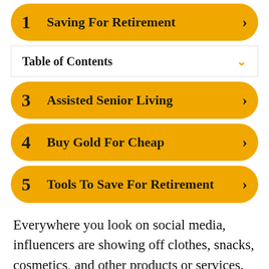1 Saving For Retirement
Table of Contents
3 Assisted Senior Living
4 Buy Gold For Cheap
5 Tools To Save For Retirement
Everywhere you look on social media, influencers are showing off clothes, snacks, cosmetics, and other products or services. Whether it’s via Instagram stories or long-